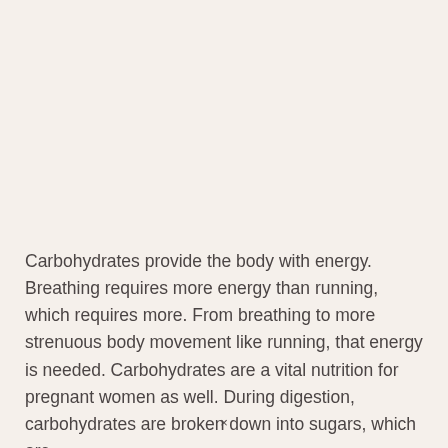Carbohydrates provide the body with energy. Breathing requires more energy than running, which requires more. From breathing to more strenuous body movement like running, that energy is needed. Carbohydrates are a vital nutrition for pregnant women as well. During digestion, carbohydrates are broken down into sugars, which are
×